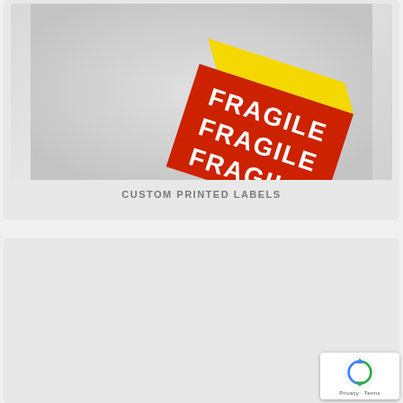[Figure (photo): A red and yellow fragile label sticker rolled/wrapped on a box, shown at an angle against a light grey background.]
CUSTOM PRINTED LABELS
[Figure (photo): A stack of printed letterhead / stationery with a dark navy header band with gold foil text and a gold accent corner, shown at an angle against a light grey background.]